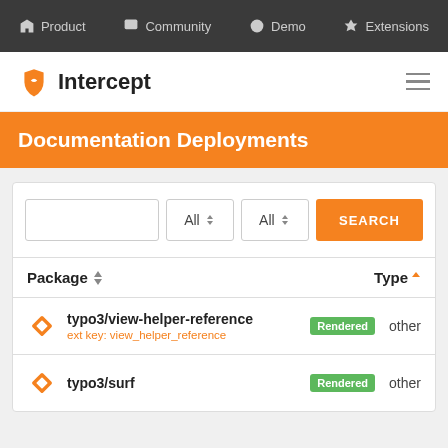Product | Community | Demo | Extensions
Intercept
Documentation Deployments
| Package | Type |
| --- | --- |
| typo3/view-helper-reference  ext key: view_helper_reference  Rendered | other |
| typo3/surf  Rendered | other |